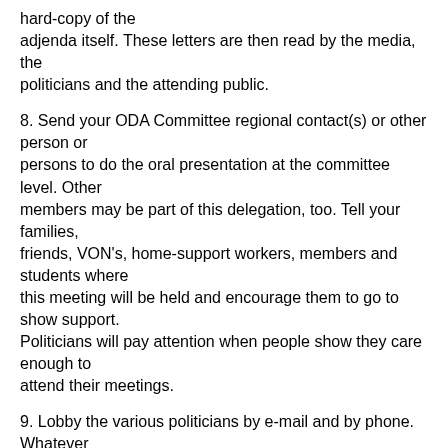hard-copy of the adjenda itself. These letters are then read by the media, the politicians and the attending public.
8. Send your ODA Committee regional contact(s) or other person or persons to do the oral presentation at the committee level. Other members may be part of this delegation, too. Tell your families, friends, VON's, home-support workers, members and students where this meeting will be held and encourage them to go to show support. Politicians will pay attention when people show they care enough to attend their meetings.
9. Lobby the various politicians by e-mail and by phone. Whatever works for your group in your town is the way to go. Tell them where the resolution has already been approved in Ontario.